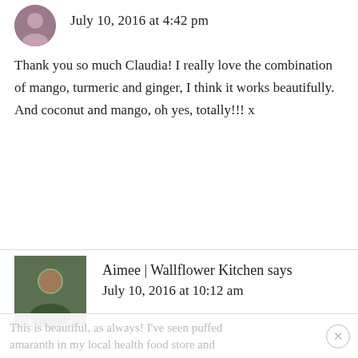July 10, 2016 at 4:42 pm
Thank you so much Claudia! I really love the combination of mango, turmeric and ginger, I think it works beautifully. And coconut and mango, oh yes, totally!!! x
REPLY
Aimee | Wallflower Kitchen says
July 10, 2016 at 10:12 am
This is beautiful, as always! I've seen puffed amaranth in my local health food store and